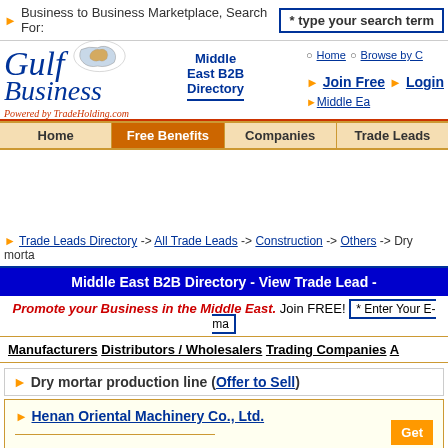Business to Business Marketplace, Search For: * type your search term
[Figure (logo): Gulf Business logo with Middle East map and 'Powered by TradeHolding.com']
Middle East B2B Directory
Home | Browse by C... | Join Free | Login | Middle Ea...
Home | Free Benefits | Companies | Trade Leads
Trade Leads Directory -> All Trade Leads -> Construction -> Others -> Dry morta...
Middle East B2B Directory - View Trade Lead -
Promote your Business in the Middle East. Join FREE! * Enter Your E-ma...
Manufacturers  Distributors / Wholesalers  Trading Companies  A...
Dry mortar production line (Offer to Sell)
Henan Oriental Machinery Co., Ltd.